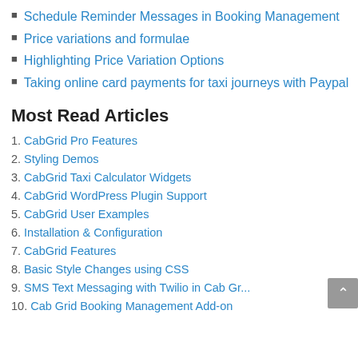Schedule Reminder Messages in Booking Management
Price variations and formulae
Highlighting Price Variation Options
Taking online card payments for taxi journeys with Paypal
Most Read Articles
1. CabGrid Pro Features
2. Styling Demos
3. CabGrid Taxi Calculator Widgets
4. CabGrid WordPress Plugin Support
5. CabGrid User Examples
6. Installation & Configuration
7. CabGrid Features
8. Basic Style Changes using CSS
9. SMS Text Messaging with Twilio in Cab Gr...
10. Cab Grid Booking Management Add-on